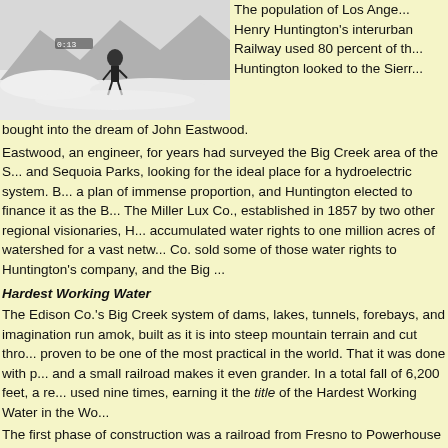[Figure (photo): Black and white photograph of a person walking through deep snow in a mountainous area]
The population of Los Angeles... Henry Huntington's interurban Railway used 80 percent of th... Huntington looked to the Sierr...
bought into the dream of John Eastwood.
Eastwood, an engineer, for years had surveyed the Big Creek area of the S... and Sequoia Parks, looking for the ideal place for a hydroelectric system. B... a plan of immense proportion, and Huntington elected to finance it as the B... The Miller Lux Co., established in 1857 by two other regional visionaries, H... accumulated water rights to one million acres of watershed for a vast netw... Co. sold some of those water rights to Huntington's company, and the Big ...
Hardest Working Water
The Edison Co.'s Big Creek system of dams, lakes, tunnels, forebays, and imagination run amok, built as it is into steep mountain terrain and cut thro... proven to be one of the most practical in the world. That it was done with p... and a small railroad makes it even grander. In a total fall of 6,200 feet, a re... used nine times, earning it the title of the Hardest Working Water in the Wo...
The first phase of construction was a railroad from Fresno to Powerhouse ... Jerky, and Expensive, the 56-mile San Joaquin and Eastern was complete... The SJ&E was constructed with 1,100 curves and two cabled, 80 percent i... geared engines, pulling cars that were no longer than 36 feet, traveled five... As the story goes, conductors often would entertain passengers by hoppin... the sharpest curves and reboarding after crossing the neck between.
The railroad, which carried passengers and millions of tons of equipment a... necessary because the terrain was too rough for teams of mules or oxen. At the site of what would become Huntington Lake, clearing began in the...